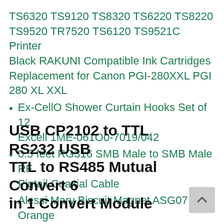TS6320 TS9120 TS8320 TS6220 TS8220 TS9520 TR7520 TS6120 TS9521C Printer Black RAKUNI Compatible Ink Cartridges Replacement for Canon PGI-280XXL PGI 280 XL XXL
Ex-CellO Shower Curtain Hooks Set of 12 Excell 1ME-061O0-7019/042
0.5 feet RG316 SMB Male to SMB Male RF Pigtail Coaxial Cable
Alessi Mary Biscuit Magnet ASG07 OM Orange
USB CP2102 to TTL RS232 USB TTL to RS485 Mutual Convert 6 in 1 Convert Module